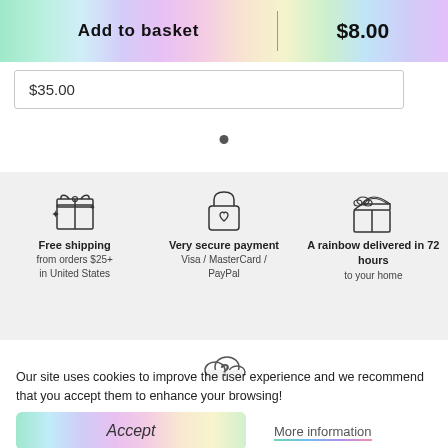Add to basket | $8.00
$35.00
[Figure (infographic): Three feature icons: gift box with sparkles (Free shipping), padlock with heart (Very secure payment), rainbow over box (A rainbow delivered in 72 hours)]
Free shipping
from orders $25+ in United States
Very secure payment
Visa / MasterCard / PayPal
A rainbow delivered in 72 hours
to your home
[Figure (illustration): Cloud with question mark icon]
Our site uses cookies to improve the user experience and we recommend that you accept them to enhance your browsing!
Accept
More information